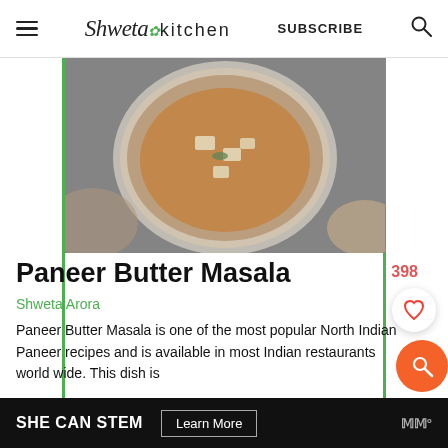Shweta in Kitchen — SUBSCRIBE
[Figure (photo): Overhead photo of Paneer Butter Masala curry in a white bowl, with naan bread visible at edges, on a dark surface]
Paneer Butter Masala
Shweta Arora
Paneer Butter Masala is one of the most popular North Indian Paneer recipes and is available in most Indian restaurants world wide. This dish is
SHE CAN STEM   Learn More